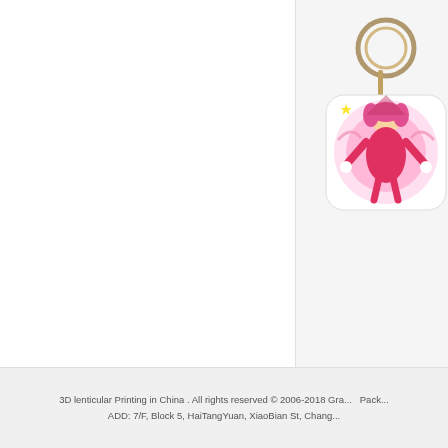[Figure (photo): A white plastic keychain with rounded square shape featuring anime character (card captor sakura) artwork in pink and red tones, with a metal ring at the top. Partially cropped on the right edge.]
Motion Keyc... Flippi...
Motion:This is ... nt of t... animation pict... ve ...
[Figure (infographic): Social sidebar with up arrow, blue person/contact icon, orange chat bubble icon with dots, green QR code icon, and down arrow]
3D lenticular Printing in China . All rights reserved © 2006-2018 Gra... Pack... ADD: 7/F, Block 5, HaiTangYuan, XiaoBian St, Chang...